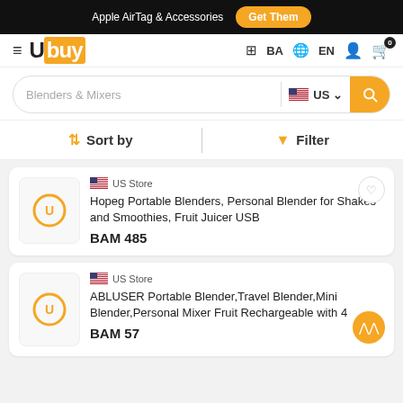Apple AirTag & Accessories  Get Them
Ubuy  BA  EN  [cart: 0]
Blenders & Mixers  US
Sort by  Filter
US Store
Hopeg Portable Blenders, Personal Blender for Shakes and Smoothies, Fruit Juicer USB
BAM 485
US Store
ABLUSER Portable Blender,Travel Blender,Mini Blender,Personal Mixer Fruit Rechargeable with 4
BAM 57